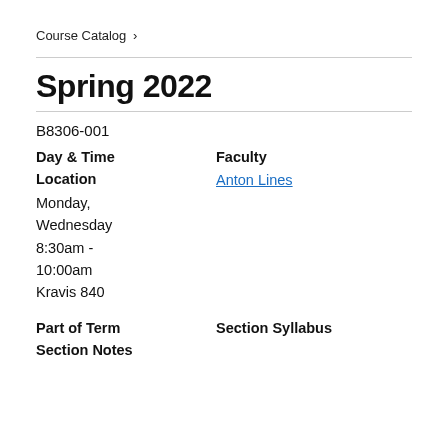Course Catalog >
Spring 2022
B8306-001
| Day & Time
Location | Faculty |
| --- | --- |
| Monday,
Wednesday
8:30am -
10:00am
Kravis 840 | Anton Lines |
Part of Term    Section Syllabus
Section Notes